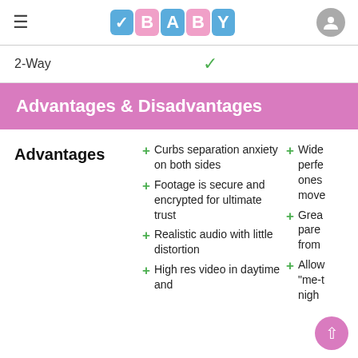CheckBaby logo header with hamburger menu and user icon
2-Way ✓
Advantages & Disadvantages
+ Curbs separation anxiety on both sides
+ Footage is secure and encrypted for ultimate trust
+ Realistic audio with little distortion
+ High res video in daytime and
+ Wide perf ones move
+ Grea pare from
+ Allow "me-t nigh